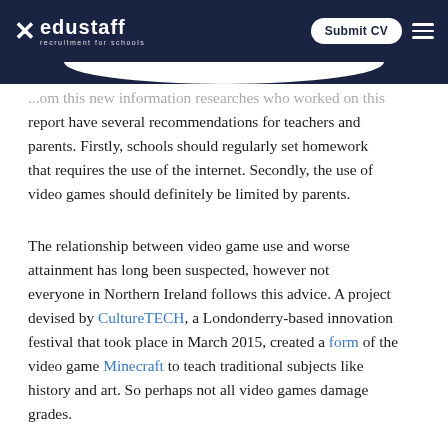edustaff recruitment for schools | Submit CV
...om this new information researches who worked on this report have several recommendations for teachers and parents. Firstly, schools should regularly set homework that requires the use of the internet. Secondly, the use of video games should definitely be limited by parents.
The relationship between video game use and worse attainment has long been suspected, however not everyone in Northern Ireland follows this advice. A project devised by CultureTECH, a Londonderry-based innovation festival that took place in March 2015, created a form of the video game Minecraft to teach traditional subjects like history and art. So perhaps not all video games damage grades.